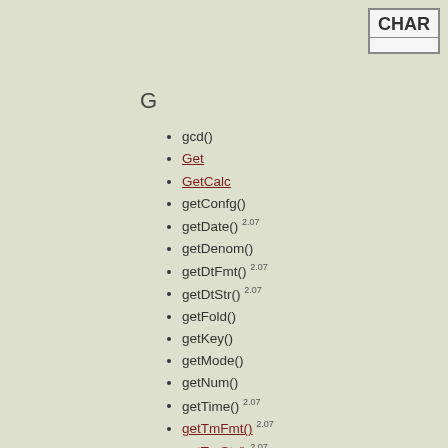CHAR
G
gcd()
Get
GetCalc
getConfg()
getDate() 2.07
getDenom()
getDtFmt() 2.07
getDtStr() 2.07
getFold()
getKey()
getMode()
getNum()
getTime() 2.07
getTmFmt() 2.07
getTmStr() 2.07
getTmZn() 2.07
getType()
getUnits()
Goto
▶Grad 3.10